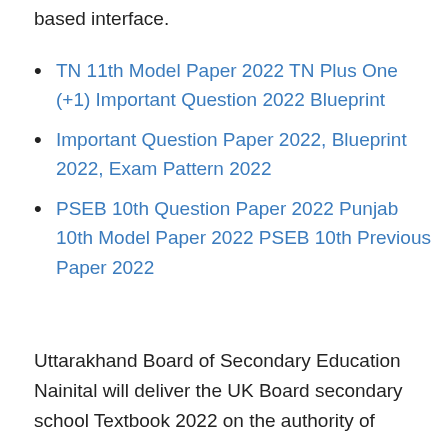based interface.
TN 11th Model Paper 2022 TN Plus One (+1) Important Question 2022 Blueprint
Important Question Paper 2022, Blueprint 2022, Exam Pattern 2022
PSEB 10th Question Paper 2022 Punjab 10th Model Paper 2022 PSEB 10th Previous Paper 2022
Uttarakhand Board of Secondary Education Nainital will deliver the UK Board secondary school Textbook 2022 on the authority of